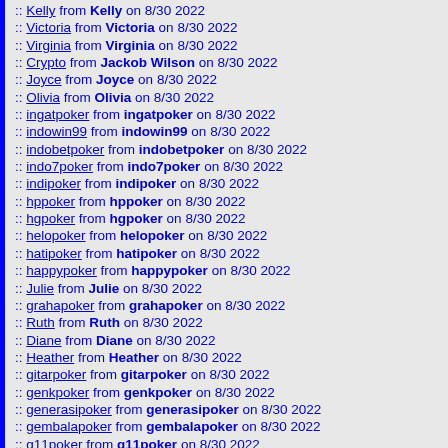:: Kelly from Kelly on 8/30 2022
:: Victoria from Victoria on 8/30 2022
:: Virginia from Virginia on 8/30 2022
:: Crypto from Jackob Wilson on 8/30 2022
:: Joyce from Joyce on 8/30 2022
:: Olivia from Olivia on 8/30 2022
:: ingatpoker from ingatpoker on 8/30 2022
:: indowin99 from indowin99 on 8/30 2022
:: indobetpoker from indobetpoker on 8/30 2022
:: indo7poker from indo7poker on 8/30 2022
:: indipoker from indipoker on 8/30 2022
:: hppoker from hppoker on 8/30 2022
:: hgpoker from hgpoker on 8/30 2022
:: helopoker from helopoker on 8/30 2022
:: hatipoker from hatipoker on 8/30 2022
:: happypoker from happypoker on 8/30 2022
:: Julie from Julie on 8/30 2022
:: grahapoker from grahapoker on 8/30 2022
:: Ruth from Ruth on 8/30 2022
:: Diane from Diane on 8/30 2022
:: Heather from Heather on 8/30 2022
:: gitarpoker from gitarpoker on 8/30 2022
:: genkpoker from genkpoker on 8/30 2022
:: generasipoker from generasipoker on 8/30 2022
:: gembalapoker from gembalapoker on 8/30 2022
:: g11poker from g11poker on 8/30 2022
:: doyanpoker from doyanpoker on 8/30 2022
:: domino777 from domino777 on 8/30 2022
:: domino365 from domino365 on 8/30 2022
:: daunpoker from daunpoker on 8/30 2022